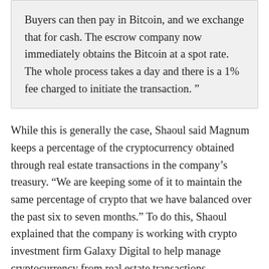Buyers can then pay in Bitcoin, and we exchange that for cash. The escrow company now immediately obtains the Bitcoin at a spot rate. The whole process takes a day and there is a 1% fee charged to initiate the transaction. ”
While this is generally the case, Shaoul said Magnum keeps a percentage of the cryptocurrency obtained through real estate transactions in the company’s treasury. “We are keeping some of it to maintain the same percentage of crypto that we have balanced over the past six to seven months.” To do this, Shaoul explained that the company is working with crypto investment firm Galaxy Digital to help manage cryptocurrency from real estate transactions.
Are Bitcoin payments for real estate just hype?